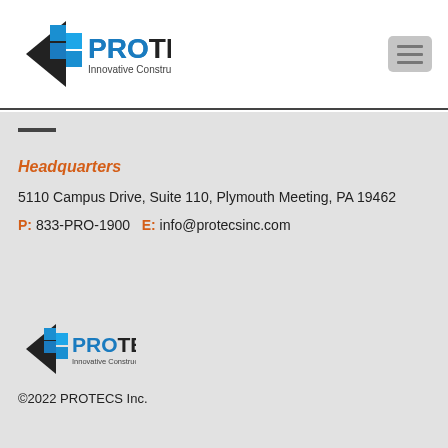[Figure (logo): PROTECS Innovative Construction Managers logo with blue building/arrow icon on dark background]
[Figure (other): Hamburger menu button (three horizontal lines on gray rounded rectangle)]
Headquarters
5110 Campus Drive, Suite 110, Plymouth Meeting, PA 19462
P: 833-PRO-1900   E: info@protecsinc.com
[Figure (logo): PROTECS Innovative Construction Managers logo (smaller version)]
©2022 PROTECS Inc.